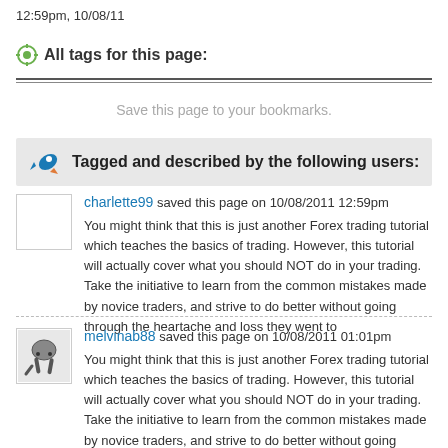12:59pm, 10/08/11
All tags for this page:
Save this page to your bookmarks.
Tagged and described by the following users:
charlette99 saved this page on 10/08/2011 12:59pm
You might think that this is just another Forex trading tutorial which teaches the basics of trading. However, this tutorial will actually cover what you should NOT do in your trading. Take the initiative to learn from the common mistakes made by novice traders, and strive to do better without going through the heartache and loss they went to
melvinab88 saved this page on 10/08/2011 01:01pm
You might think that this is just another Forex trading tutorial which teaches the basics of trading. However, this tutorial will actually cover what you should NOT do in your trading. Take the initiative to learn from the common mistakes made by novice traders, and strive to do better without going through the heartache and loss they went to